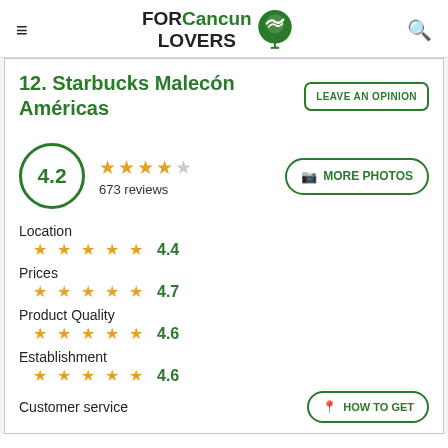FOR Cancun LOVERS
12. Starbucks Malecón Américas
LEAVE AN OPINION
4.2 — 673 reviews
MORE PHOTOS
Location
4.4
Prices
4.7
Product Quality
4.6
Establishment
4.6
Customer service
HOW TO GET